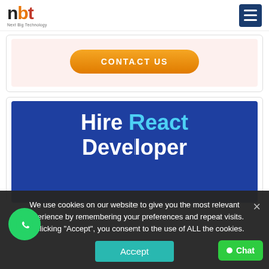[Figure (logo): NBT (Next Big Technology) logo with orange and red letters and tagline]
[Figure (screenshot): Dark blue hamburger menu icon in top right corner]
[Figure (screenshot): Contact Us orange pill button on light pink background]
[Figure (screenshot): Hire React Developer banner with dark blue background, white and cyan text]
We use cookies on our website to give you the most relevant experience by remembering your preferences and repeat visits. By clicking "Accept", you consent to the use of ALL the cookies.
Accept
[Figure (illustration): WhatsApp icon green circle button]
Chat